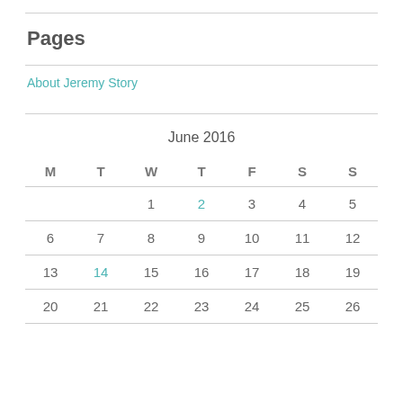Pages
About Jeremy Story
| M | T | W | T | F | S | S |
| --- | --- | --- | --- | --- | --- | --- |
|  |  | 1 | 2 | 3 | 4 | 5 |
| 6 | 7 | 8 | 9 | 10 | 11 | 12 |
| 13 | 14 | 15 | 16 | 17 | 18 | 19 |
| 20 | 21 | 22 | 23 | 24 | 25 | 26 |